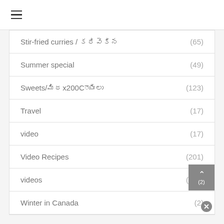≡
Stir-fried curries / ???????? (65)
Summer special (49)
Sweets/???????? (123)
Travel (17)
video (17)
Video Recipes (201)
videos (127)
Winter in Canada (2)